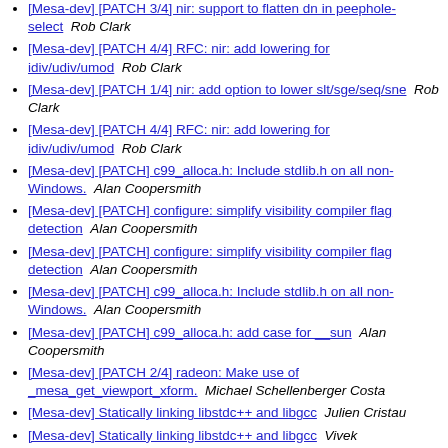[Mesa-dev] [PATCH 3/4] nir: support to flatten dn in peephole-select  Rob Clark
[Mesa-dev] [PATCH 4/4] RFC: nir: add lowering for idiv/udiv/umod  Rob Clark
[Mesa-dev] [PATCH 1/4] nir: add option to lower slt/sge/seq/sne  Rob Clark
[Mesa-dev] [PATCH 4/4] RFC: nir: add lowering for idiv/udiv/umod  Rob Clark
[Mesa-dev] [PATCH] c99_alloca.h: Include stdlib.h on all non-Windows.  Alan Coopersmith
[Mesa-dev] [PATCH] configure: simplify visibility compiler flag detection  Alan Coopersmith
[Mesa-dev] [PATCH] configure: simplify visibility compiler flag detection  Alan Coopersmith
[Mesa-dev] [PATCH] c99_alloca.h: Include stdlib.h on all non-Windows.  Alan Coopersmith
[Mesa-dev] [PATCH] c99_alloca.h: add case for __sun  Alan Coopersmith
[Mesa-dev] [PATCH 2/4] radeon: Make use of _mesa_get_viewport_xform.  Michael Schellenberger Costa
[Mesa-dev] Statically linking libstdc++ and libgcc  Julien Cristau
[Mesa-dev] Statically linking libstdc++ and libgcc  Vivek Dasmohapatra
[Mesa-dev] Statically linking libstdc++ and libgcc  Vivek Dasmohapatra